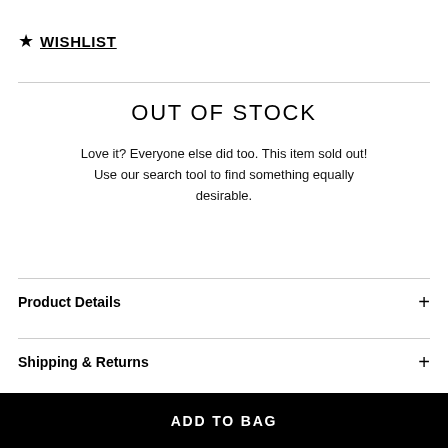★ WISHLIST
OUT OF STOCK
Love it? Everyone else did too. This item sold out! Use our search tool to find something equally desirable.
Product Details
Shipping & Returns
ADD TO BAG